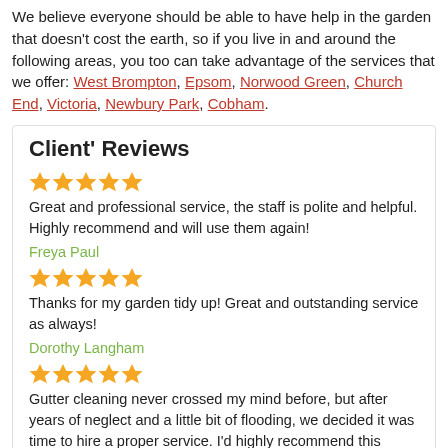We believe everyone should be able to have help in the garden that doesn't cost the earth, so if you live in and around the following areas, you too can take advantage of the services that we offer: West Brompton, Epsom, Norwood Green, Church End, Victoria, Newbury Park, Cobham.
Client' Reviews
★★★★★
Great and professional service, the staff is polite and helpful. Highly recommend and will use them again!
Freya Paul
★★★★★
Thanks for my garden tidy up! Great and outstanding service as always!
Dorothy Langham
★★★★★
Gutter cleaning never crossed my mind before, but after years of neglect and a little bit of flooding, we decided it was time to hire a proper service. I'd highly recommend this company to anyone in a similar situation.
Gayle Mitchell